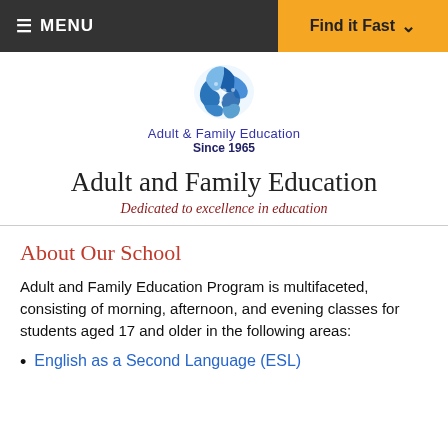MENU | Find it Fast
[Figure (logo): Globe puzzle logo for Adult & Family Education with text 'Adult & Family Education Since 1965']
Adult and Family Education
Dedicated to excellence in education
About Our School
Adult and Family Education Program is multifaceted, consisting of morning, afternoon, and evening classes for students aged 17 and older in the following areas:
English as a Second Language (ESL)